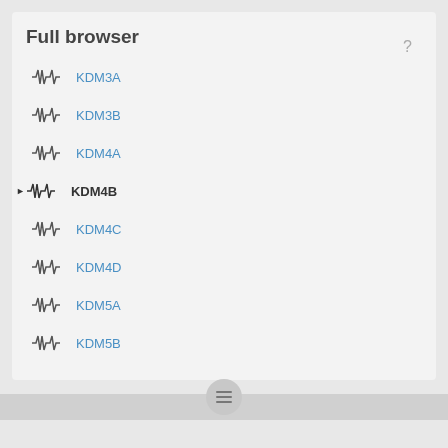Full browser
KDM3A
KDM3B
KDM4A
KDM4B
KDM4C
KDM4D
KDM5A
KDM5B